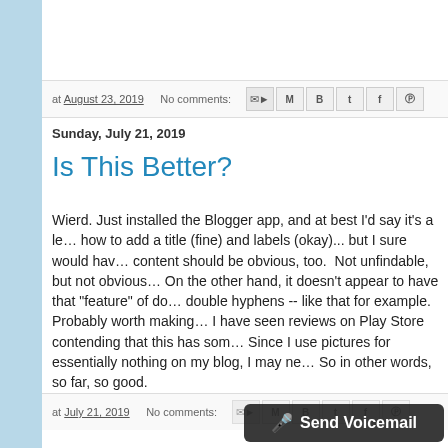at August 23, 2019   No comments:
Sunday, July 21, 2019
Is This Better?
Wierd. Just installed the Blogger app, and at best I'd say it's a le... how to add a title (fine) and labels (okay)... but I sure would hav... content should be obvious, too.  Not unfindable, but not obvious... On the other hand, it doesn't appear to have that "feature" of do... double hyphens -- like that for example.  Probably worth making... I have seen reviews on Play Store contending that this has som... Since I use pictures for essentially nothing on my blog, I may ne... So in other words, so far, so good.
at July 21, 2019   No comments: